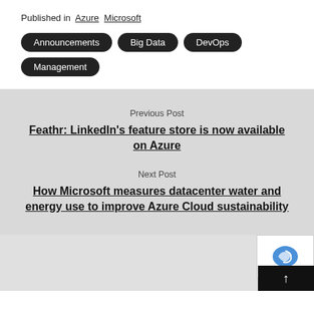Published in  Azure  Microsoft
Announcements
Big Data
DevOps
Management
Previous Post
Feathr: LinkedIn's feature store is now available on Azure
Next Post
How Microsoft measures datacenter water and energy use to improve Azure Cloud sustainability